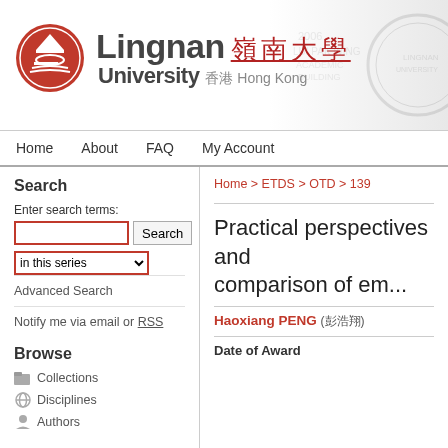[Figure (logo): Lingnan University Hong Kong logo with red circular emblem and bilingual text]
Home   About   FAQ   My Account
Search
Enter search terms:
in this series
Advanced Search
Notify me via email or RSS
Browse
Collections
Disciplines
Authors
Home > ETDS > OTD > 139
Practical perspectives and comparison of em...
Haoxiang PENG (彭浩翔)
Date of Award